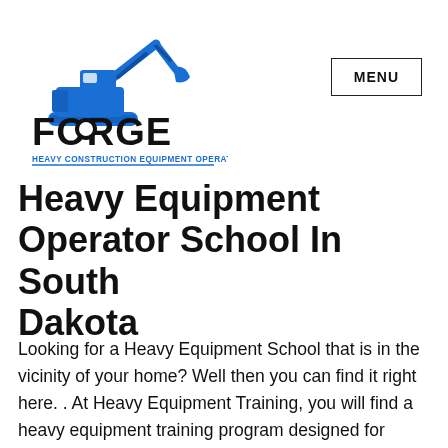[Figure (logo): FORGE Heavy Construction Equipment Operator Training logo with blue excavator silhouette above bold black FORGE text and blue subtitle text]
Heavy Equipment Operator School In South Dakota
Looking for a Heavy Equipment School that is in the vicinity of your home? Well then you can find it right here. . At Heavy Equipment Training, you will find a heavy equipment training program designed for those interested